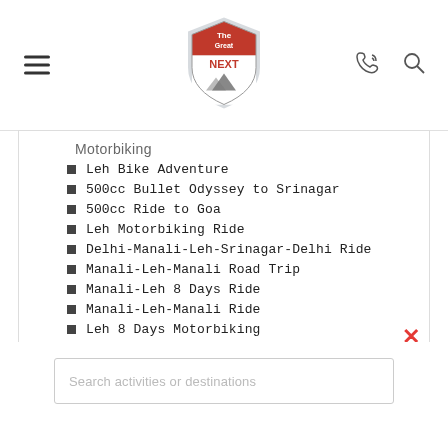[Figure (logo): The Great NEXT shield logo with hamburger menu, phone and search icons in a navigation header]
Motorbiking
Leh Bike Adventure
500cc Bullet Odyssey to Srinagar
500cc Ride to Goa
Leh Motorbiking Ride
Delhi-Manali-Leh-Srinagar-Delhi Ride
Manali-Leh-Manali Road Trip
Manali-Leh 8 Days Ride
Manali-Leh-Manali Ride
Leh 8 Days Motorbiking
Leh 6 Day Ride
Manali-Leh-Srinagar Ride
Leh 6 Day Ride
Manali-Leh 8 Days Ride
Delhi-Manali-Leh-Delhi motorbike trip
Custom Leh 7 Day Ride
Search activities or destinations